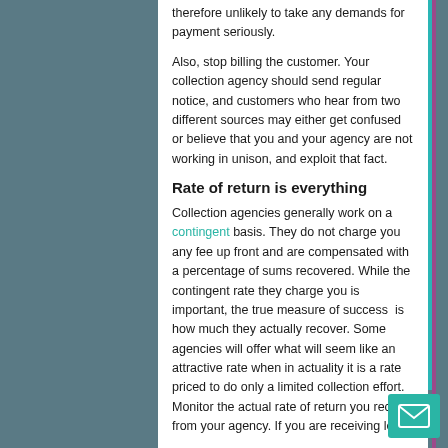therefore unlikely to take any demands for payment seriously.
Also, stop billing the customer. Your collection agency should send regular notice, and customers who hear from two different sources may either get confused or believe that you and your agency are not working in unison, and exploit that fact.
Rate of return is everything
Collection agencies generally work on a contingent basis. They do not charge you any fee up front and are compensated with a percentage of sums recovered. While the contingent rate they charge you is important, the true measure of success is how much they actually recover. Some agencies will offer what will seem like an attractive rate when in actuality it is a rate priced to do only a limited collection effort. Monitor the actual rate of return you receive from your agency. If you are receiving less